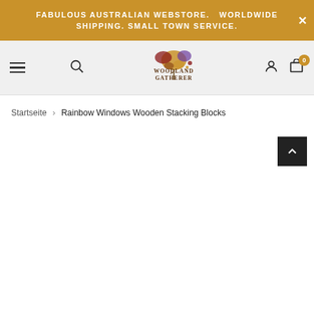FABULOUS AUSTRALIAN WEBSTORE. WORLDWIDE SHIPPING. SMALL TOWN SERVICE.
[Figure (logo): Woodland Gatherer logo with autumn leaves illustration]
Startseite > Rainbow Windows Wooden Stacking Blocks